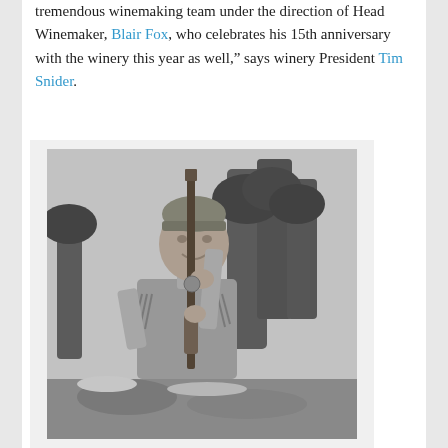tremendous winemaking team under the direction of Head Winemaker, Blair Fox, who celebrates his 15th anniversary with the winery this year as well," says winery President Tim Snider.
[Figure (photo): Black and white photograph of a man wearing a fringed frontier/buckskin outfit and a headband, holding a long rifle or musket upright with both hands. He is smiling and standing outdoors among pine trees.]